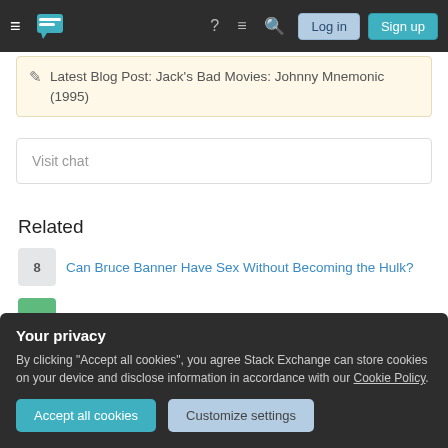Stack Exchange navigation bar with login and sign up buttons
Latest Blog Post: Jack's Bad Movies: Johnny Mnemonic (1995)
Visit chat
Related
8 Can Bruce Banner Have Sex Without Becoming the Hulk?
7 Why has no one noticed the un-misted Inhumans before?
30 Has any Marvel or DC comic ever shown graphic nudity?
Your privacy
By clicking "Accept all cookies", you agree Stack Exchange can store cookies on your device and disclose information in accordance with our Cookie Policy.